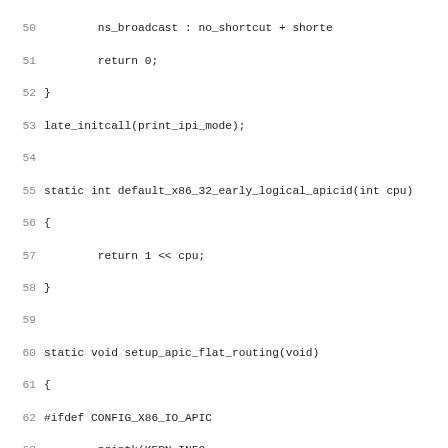[Figure (screenshot): Source code screenshot showing C code for Linux kernel APIC routing functions. Line numbers 50-82 visible. Functions include default_x86_32_early_logical_apicid, setup_apic_flat_routing, and default_vector_allocation_domain with a multi-line comment about hyperthreading CPU interrupt delivery.]